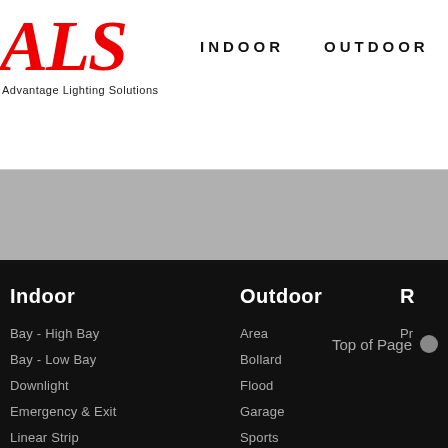[Figure (logo): ALS Advantage Lighting Solutions logo in red italic serif font with tagline below]
INDOOR   OUTDOOR   R
Indoor
Bay - High Bay
Bay - Low Bay
Downlight
Emergency & Exit
Linear Strip
Panel
Troffer
Outdoor
Area
Bollard
Flood
Garage
Sports
Wall Mount
Top of Page
R